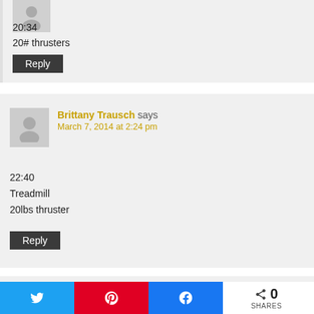20:34
20# thrusters
Reply
Brittany Trausch says
March 7, 2014 at 2:24 pm
22:40
Treadmill
20lbs thruster
Reply
0 SHARES